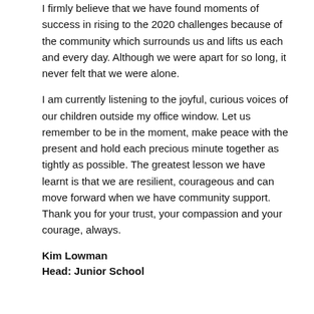I firmly believe that we have found moments of success in rising to the 2020 challenges because of the community which surrounds us and lifts us each and every day. Although we were apart for so long, it never felt that we were alone.
I am currently listening to the joyful, curious voices of our children outside my office window. Let us remember to be in the moment, make peace with the present and hold each precious minute together as tightly as possible. The greatest lesson we have learnt is that we are resilient, courageous and can move forward when we have community support. Thank you for your trust, your compassion and your courage, always.
Kim Lowman
Head: Junior School